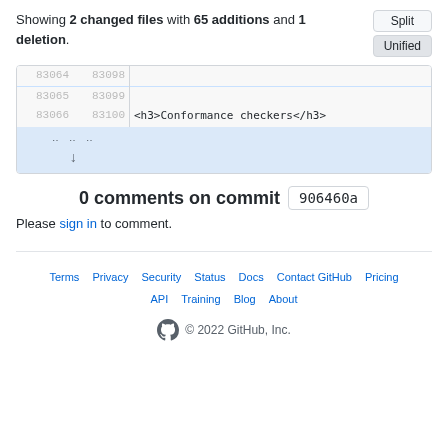Showing 2 changed files with 65 additions and 1 deletion.
| old | new | code |
| --- | --- | --- |
| 83064 | 83098 |  |
| 83065 | 83099 |  |
| 83066 | 83100 | <h3>Conformance checkers</h3> |
| (expand) |  |  |
0 comments on commit 906460a
Please sign in to comment.
Terms Privacy Security Status Docs Contact GitHub Pricing API Training Blog About © 2022 GitHub, Inc.